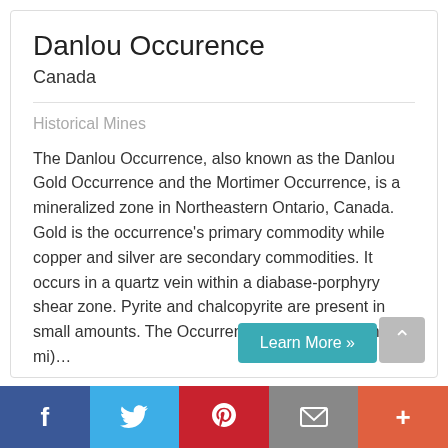Danlou Occurence
Canada
Historical Mines
The Danlou Occurrence, also known as the Danlou Gold Occurrence and the Mortimer Occurrence, is a mineralized zone in Northeastern Ontario, Canada. Gold is the occurrence's primary commodity while copper and silver are secondary commodities. It occurs in a quartz vein within a diabase-porphyry shear zone. Pyrite and chalcopyrite are present in small amounts. The Occurrence is located 10 km (6.2 mi)…
Learn More »
f  Twitter  p  Email  +